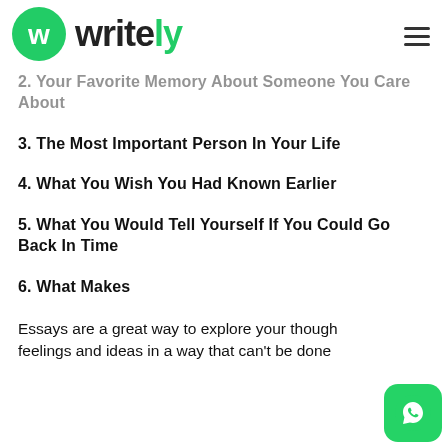writely
2. Your Favorite Memory About Someone You Care About
3. The Most Important Person In Your Life
4. What You Wish You Had Known Earlier
5. What You Would Tell Yourself If You Could Go Back In Time
6. What Makes
Essays are a great way to explore your thoughts, feelings and ideas in a way that can't be done